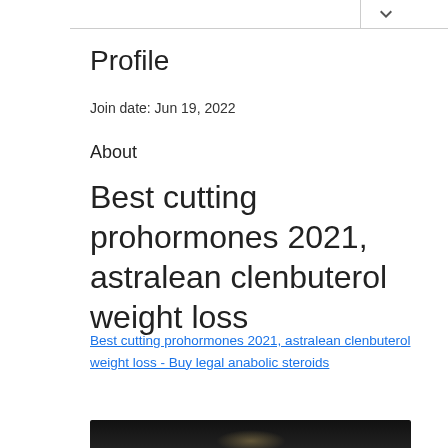Profile
Join date: Jun 19, 2022
About
Best cutting prohormones 2021, astralean clenbuterol weight loss
Best cutting prohormones 2021, astralean clenbuterol weight loss - Buy legal anabolic steroids
[Figure (photo): Dark background image, partially visible at bottom of page]